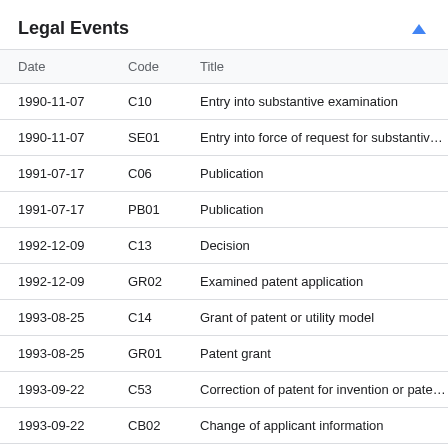Legal Events
| Date | Code | Title |
| --- | --- | --- |
| 1990-11-07 | C10 | Entry into substantive examination |
| 1990-11-07 | SE01 | Entry into force of request for substantive ex... |
| 1991-07-17 | C06 | Publication |
| 1991-07-17 | PB01 | Publication |
| 1992-12-09 | C13 | Decision |
| 1992-12-09 | GR02 | Examined patent application |
| 1993-08-25 | C14 | Grant of patent or utility model |
| 1993-08-25 | GR01 | Patent grant |
| 1993-09-22 | C53 | Correction of patent for invention or patent ap... |
| 1993-09-22 | CB02 | Change of applicant information |